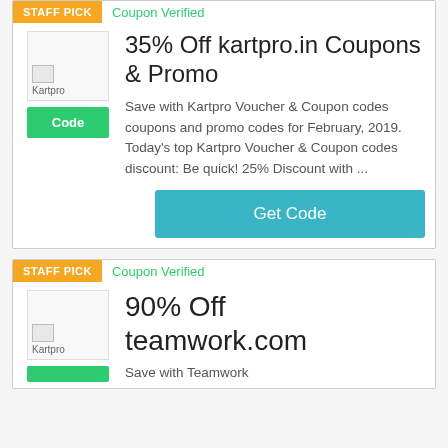[Figure (screenshot): Card 1 - Kartpro coupon listing with STAFF PICK badge, Coupon Verified label, logo placeholder, Code button, deal title, description, and Get Code button]
[Figure (screenshot): Card 2 - teamwork.com coupon listing with STAFF PICK badge, Coupon Verified label, logo placeholder, and partial deal content]